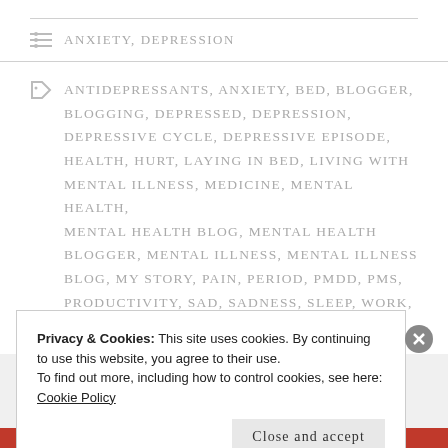ANXIETY, DEPRESSION
ANTIDEPRESSANTS, ANXIETY, BED, BLOGGER, BLOGGING, DEPRESSED, DEPRESSION, DEPRESSIVE CYCLE, DEPRESSIVE EPISODE, HEALTH, HURT, LAYING IN BED, LIVING WITH MENTAL ILLNESS, MEDICINE, MENTAL HEALTH, MENTAL HEALTH BLOG, MENTAL HEALTH BLOGGER, MENTAL ILLNESS, MENTAL ILLNESS BLOG, MY STORY, PAIN, PERIOD, PMDD, PMS, PRODUCTIVITY, SAD, SADNESS, SLEEP, WORK, WRITING
Privacy & Cookies: This site uses cookies. By continuing to use this website, you agree to their use.
To find out more, including how to control cookies, see here:
Cookie Policy
Close and accept